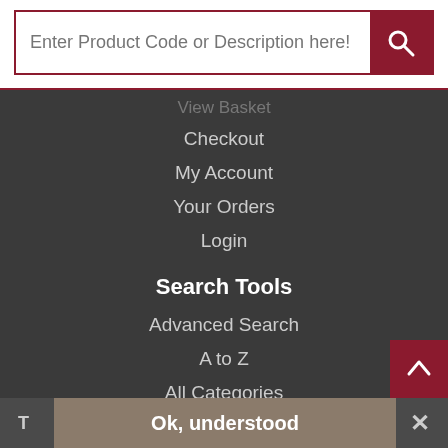[Figure (screenshot): Search bar input field with placeholder text 'Enter Product Code or Description here!' and a dark red search button with magnifying glass icon]
Checkout
My Account
Your Orders
Login
Search Tools
Advanced Search
A to Z
All Categories
Contact Us
Houston Office Group
10 Marlboro Street
Ok, understood